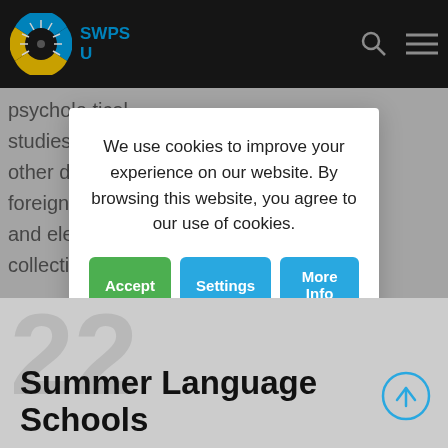[Figure (screenshot): SWPS University logo in top navigation bar with dark background, showing a circular eye/sun logo in blue and yellow, and the text 'SWPS U' in blue]
psycholo... tical studies, p... d many other dis... and foreign p... n paper and elec... e collection... es.
We use cookies to improve your experience on our website. By browsing this website, you agree to our use of cookies.
Accept | Settings | More Info
Summer Language Schools